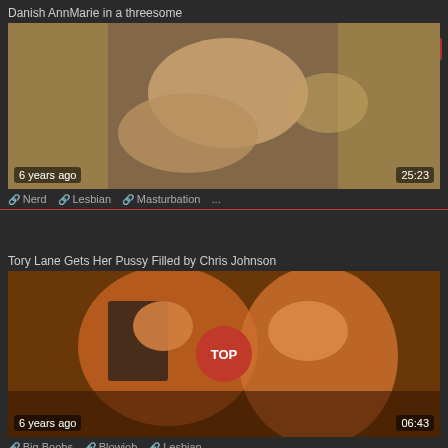Danish AnnMarie in a threesome
[Figure (photo): Video thumbnail showing adult content - first video]
6 years ago
25:23
🔗 Nerd  🔗 Lesbian  🔗 Masturbation  ...
Tory Lane Gets Her Pussy Filled by Chris Johnson
[Figure (photo): Video thumbnail showing adult content - second video]
6 years ago
06:43
🔗 Big Boobs  🔗 Blowjob  🔗 Lesbian